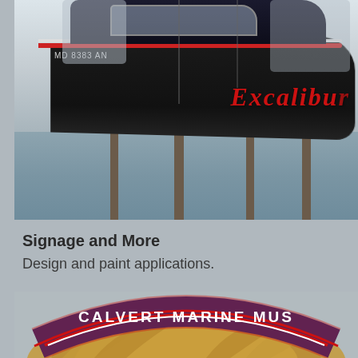[Figure (photo): A dark-hulled speedboat named Excalibur docked at a marina with dock pillars visible in water. The boat has red and white stripes and the name 'Excalibur' in red script on the hull. Registration number MD 8383 AN visible.]
Signage and More
Design and paint applications.
[Figure (logo): Calvert Marine Museum logo showing an eagle with a blue banner reading 'CALVERT MARINE MUS...' in white uppercase letters with red and white border stripes, partially cropped.]